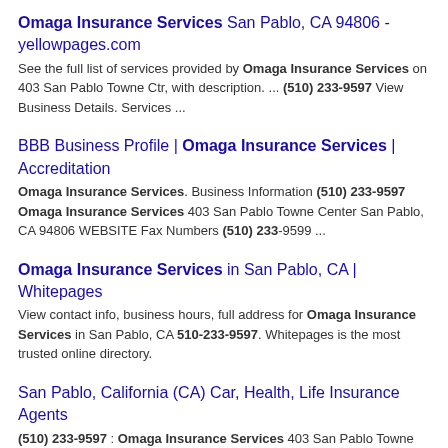Omaga Insurance Services San Pablo, CA 94806 - yellowpages.com
See the full list of services provided by Omaga Insurance Services on 403 San Pablo Towne Ctr, with description. ... (510) 233-9597 View Business Details. Services ...
BBB Business Profile | Omaga Insurance Services | Accreditation
Omaga Insurance Services. Business Information (510) 233-9597 Omaga Insurance Services 403 San Pablo Towne Center San Pablo, CA 94806 WEBSITE Fax Numbers (510) 233-9599 ...
Omaga Insurance Services in San Pablo, CA | Whitepages
View contact info, business hours, full address for Omaga Insurance Services in San Pablo, CA 510-233-9597. Whitepages is the most trusted online directory.
San Pablo, California (CA) Car, Health, Life Insurance Agents
(510) 233-9597 : Omaga Insurance Services 403 San Pablo Towne Ctr San Pablo CA: ... (510) 236-6643 : United Insurance CO of America 2523 El Portal Dr Ste 202 San Pablo